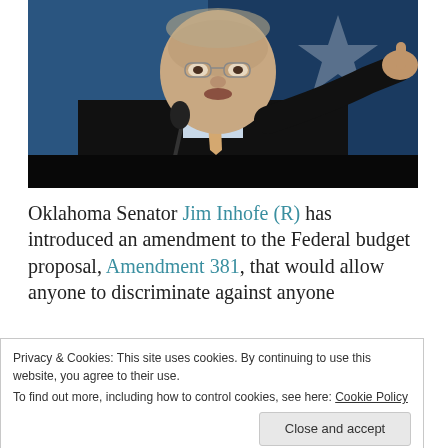[Figure (photo): Photograph of Oklahoma Senator Jim Inhofe pointing his finger toward the camera, wearing a dark suit with a beige/tan tie and light blue shirt, speaking at a podium with a blue background featuring a white star.]
Oklahoma Senator Jim Inhofe (R) has introduced an amendment to the Federal budget proposal, Amendment 381, that would allow anyone to discriminate against anyone
Privacy & Cookies: This site uses cookies. By continuing to use this website, you agree to their use.
To find out more, including how to control cookies, see here: Cookie Policy
Fearing they'll have to actually respect the